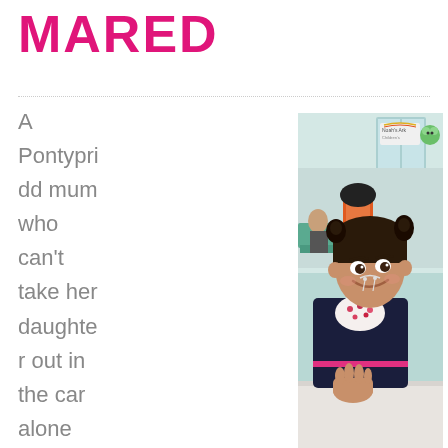MARED
A Pontypridd mum who can't take her daughter out in the car alone without putting her life
[Figure (photo): A smiling young girl with pigtails sitting in a wheelchair, wearing a dark patterned jacket and a floral bib with a nasal cannula, in what appears to be a hospital waiting area. A Noah's Ark Children's Hospital logo is visible in the background.]